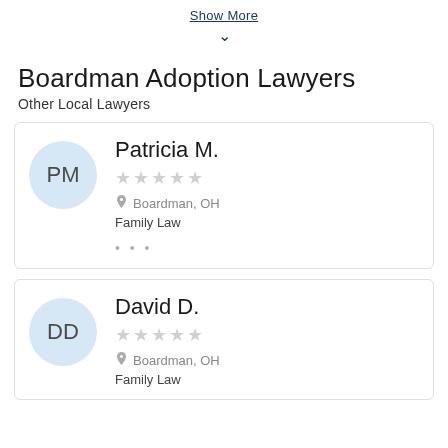Show More
Boardman Adoption Lawyers
Other Local Lawyers
Patricia M. | Boardman, OH | Family Law
David D. | Boardman, OH | Family Law